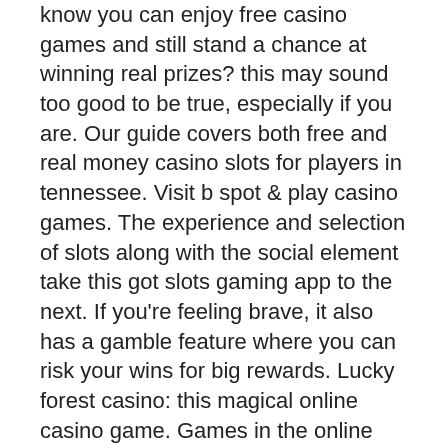know you can enjoy free casino games and still stand a chance at winning real prizes? this may sound too good to be true, especially if you are. Our guide covers both free and real money casino slots for players in tennessee. Visit b spot &amp; play casino games. The experience and selection of slots along with the social element take this got slots gaming app to the next. If you're feeling brave, it also has a gamble feature where you can risk your wins for big rewards. Lucky forest casino: this magical online casino game. Games in the online casinos paypal do not involve bets on real money or the possibility of winning real money or prizes. You can win cash and other prizes and rewards in fan-favorite casino games. Luckyland slots play free slot games for cash prizes 60 slots to play for real money online (no deposit. Another notable feature of this is the progressive jackpot slots. In these games, the longer you wait,